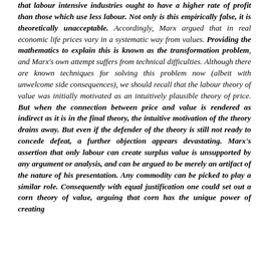that labour intensive industries ought to have a higher rate of profit than those which use less labour. Not only is this empirically false, it is theoretically unacceptable. Accordingly, Marx argued that in real economic life prices vary in a systematic way from values. Providing the mathematics to explain this is known as the transformation problem, and Marx's own attempt suffers from technical difficulties. Although there are known techniques for solving this problem now (albeit with unwelcome side consequences), we should recall that the labour theory of value was initially motivated as an intuitively plausible theory of price. But when the connection between price and value is rendered as indirect as it is in the final theory, the intuitive motivation of the theory drains away. But even if the defender of the theory is still not ready to concede defeat, a further objection appears devastating. Marx's assertion that only labour can create surplus value is unsupported by any argument or analysis, and can be argued to be merely an artifact of the nature of his presentation. Any commodity can be picked to play a similar role. Consequently with equal justification one could set out a corn theory of value, arguing that corn has the unique power of creating